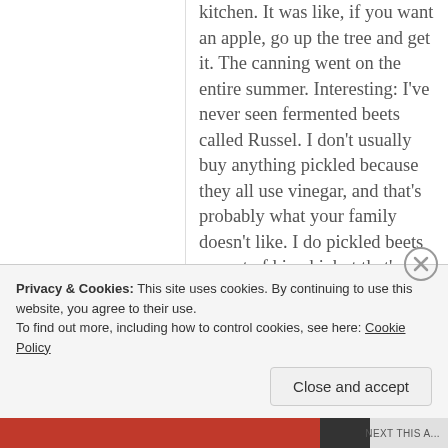kitchen. It was like, if you want an apple, go up the tree and get it. The canning went on the entire summer. Interesting: I've never seen fermented beets called Russel. I don't usually buy anything pickled because they all use vinegar, and that's probably what your family doesn't like. I do pickled beets as part of kimchi, but that's a whole enterprise, having red cabbage checked for bugs, so I don't do it that often.
Privacy & Cookies: This site uses cookies. By continuing to use this website, you agree to their use.
To find out more, including how to control cookies, see here: Cookie Policy